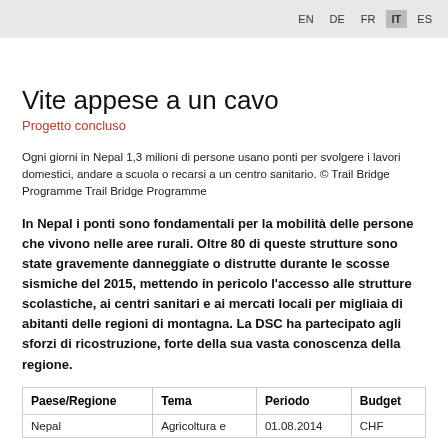EN  DE  FR  IT  ES
Vite appese a un cavo
Progetto concluso
Ogni giorni in Nepal 1,3 milioni di persone usano ponti per svolgere i lavori domestici, andare a scuola o recarsi a un centro sanitario. © Trail Bridge Programme Trail Bridge Programme
In Nepal i ponti sono fondamentali per la mobilità delle persone che vivono nelle aree rurali. Oltre 80 di queste strutture sono state gravemente danneggiate o distrutte durante le scosse sismiche del 2015, mettendo in pericolo l'accesso alle strutture scolastiche, ai centri sanitari e ai mercati locali per migliaia di abitanti delle regioni di montagna. La DSC ha partecipato agli sforzi di ricostruzione, forte della sua vasta conoscenza della regione.
| Paese/Regione | Tema | Periodo | Budget |
| --- | --- | --- | --- |
| Nepal | Agricoltura e | 01.08.2014 | CHF |